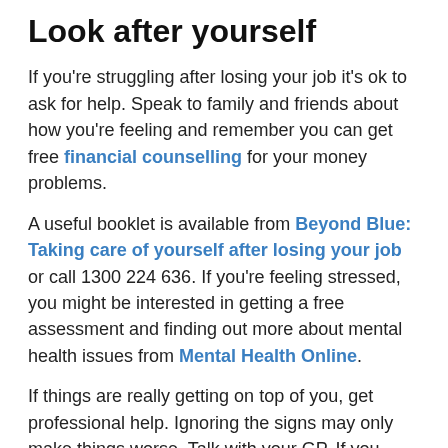Look after yourself
If you're struggling after losing your job it's ok to ask for help. Speak to family and friends about how you're feeling and remember you can get free financial counselling for your money problems.
A useful booklet is available from Beyond Blue: Taking care of yourself after losing your job or call 1300 224 636. If you're feeling stressed, you might be interested in getting a free assessment and finding out more about mental health issues from Mental Health Online.
If things are really getting on top of you, get professional help. Ignoring the signs may only make things worse. Talk with your GP. If you think you might hurt yourself or are having thoughts about suicide, call the Lifeline 24-hour crisis support service on 13 11 14 or try their crisis